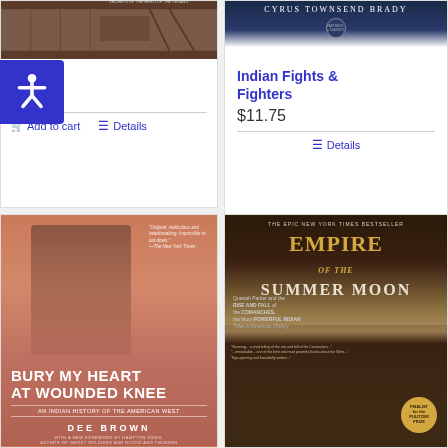[Figure (photo): Book cover image for Taos, sepia/brown tones with historical scene]
Taos
$21.99
Add to cart
Details
[Figure (photo): Book cover for Indian Fights & Fighters by Cyrus Townsend Brady, dark blue with Pantheon Classics logo]
Indian Fights & Fighters
$11.75
Details
[Figure (photo): Book cover of Bury My Heart at Wounded Knee by Dee Brown, salmon/orange toned cover with Native American portrait]
[Figure (photo): Book cover of Empire of the Summer Moon, dark cover with golden title text and Native American portrait]